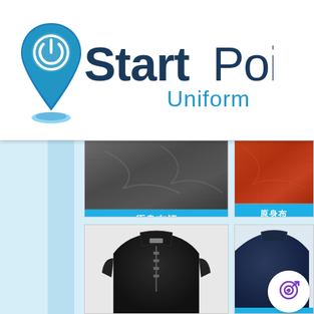[Figure (logo): StartPoint Uniform logo: blue map pin icon with a power/refresh symbol, bold 'Start' and regular 'Point' in dark navy blue, 'Uniform' in lighter blue below]
[Figure (photo): Product catalog section showing fabric swatches labeled '原身布領' (dark grey and orange-red) and garment photos labeled '領口拉鍊' (black zip collar top) and '單' (navy garment, partially visible), with light blue background and decorative vertical stripe]